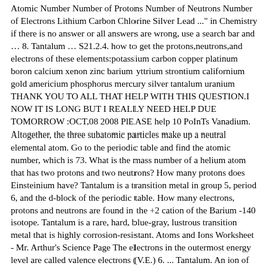Atomic Number Number of Protons Number of Neutrons Number of Electrons Lithium Carbon Chlorine Silver Lead ..." in Chemistry if there is no answer or all answers are wrong, use a search bar and … 8. Tantalum … S21.2.4. how to get the protons,neutrons,and electrons of these elements:potassium carbon copper platinum boron calcium xenon zinc barium yttrium strontium californium gold americium phosphorus mercury silver tantalum uranium THANK YOU TO ALL THAT HELP WITH THIS QUESTION.I NOW IT IS LONG BUT I REALLY NEED HELP DUE TOMORROW :OCT,08 2008 PlEASE help 10 PoInTs Vanadium. Altogether, the three subatomic particles make up a neutral elemental atom. Go to the periodic table and find the atomic number, which is 73. What is the mass number of a helium atom that has two protons and two neutrons? How many protons does Einsteinium have? Tantalum is a transition metal in group 5, period 6, and the d-block of the periodic table. How many electrons, protons and neutrons are found in the +2 cation of the Barium -140 isotope. Tantalum is a rare, hard, blue-gray, lustrous transition metal that is highly corrosion-resistant. Atoms and Ions Worksheet - Mr. Arthur's Science Page The electrons in the outermost energy level are called valence electrons (V.E.) 6. ... Tantalum. An ion of an atom is one in which the number of protons and electrons is not the same. Experiments by Ernest Rutherford in England in the 1910s pointed to a nuclear model with at oms that has the protons and neutrons in a central nucleus with the electrons in orbits about the nucleus. A neutral element has no net oms will...